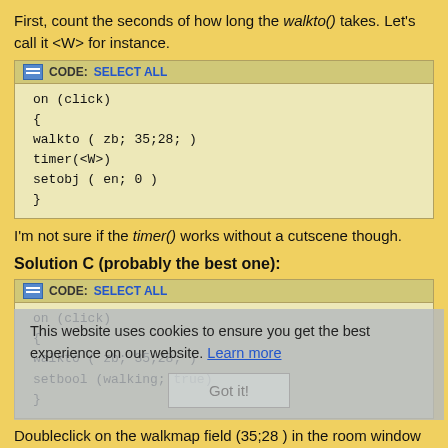First, count the seconds of how long the walkto() takes. Let's call it <W> for instance.
CODE: SELECT ALL
on (click)
{
walkto ( zb; 35;28; )
timer(<W>)
setobj ( en; 0 )
}
I'm not sure if the timer() works without a cutscene though.
Solution C (probably the best one):
CODE: SELECT ALL
on (click)
{
walkto ( zb; 35;28; )
setbool (walking; true)
}
Doubleclick on the walkmap field (35;28 ) in the room window and